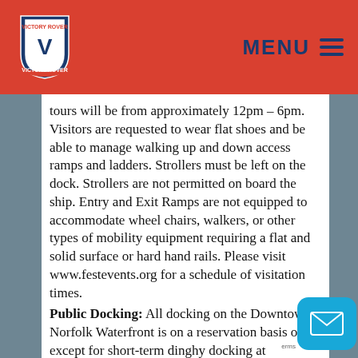MENU
tours will be from approximately 12pm – 6pm. Visitors are requested to wear flat shoes and be able to manage walking up and down access ramps and ladders. Strollers must be left on the dock. Strollers are not permitted on board the ship. Entry and Exit Ramps are not equipped to accommodate wheel chairs, walkers, or other types of mobility equipment requiring a flat and solid surface or hard hand rails. Please visit www.festevents.org for a schedule of visitation times.
Public Docking: All docking on the Downtown Norfolk Waterfront is on a reservation basis only, except for short-term dinghy docking at designated locations on the Norfolk waterfront. Time limits (no over docking) and size (16' or smaller) limits apply.
• Docking in the Hospital Point Anchorage in the